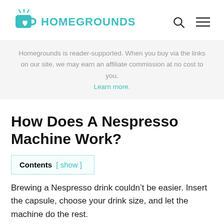HOMEGROUNDS
Homegrounds is reader-supported. When you buy via the links on our site, we may earn an affiliate commission at no cost to you. Learn more.
How Does A Nespresso Machine Work?
Contents [ show ]
Brewing a Nespresso drink couldn't be easier. Insert the capsule, choose your drink size, and let the machine do the rest.